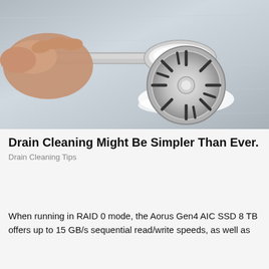[Figure (photo): A hand holding a spoon pouring white powder (baking soda) onto a stainless steel sink drain]
Drain Cleaning Might Be Simpler Than Ever.
Drain Cleaning Tips
When running in RAID 0 mode, the Aorus Gen4 AIC SSD 8 TB offers up to 15 GB/s sequential read/write speeds, as well as